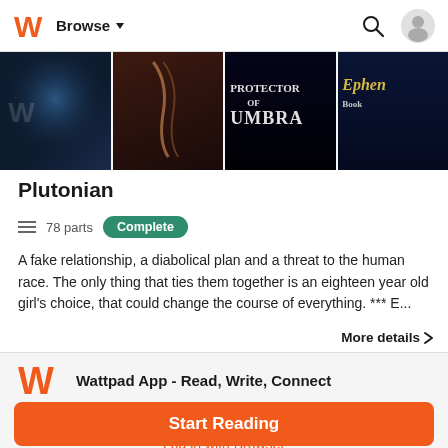[Figure (screenshot): Wattpad app navigation bar with orange W logo, Browse dropdown, search icon, and user profile icon]
[Figure (photo): Row of four book cover thumbnails: dark fantasy cover with blue-haired figure with W logo, dark cover with spine, Protector of Umbra cover, and Ephen Book cover]
Plutonian
☰ 78 parts  Complete
A fake relationship, a diabolical plan and a threat to the human race. The only thing that ties them together is an eighteen year old girl's choice, that could change the course of everything. *** E...
More details >
Wattpad App - Read, Write, Connect
Start Reading
Log in with Browser